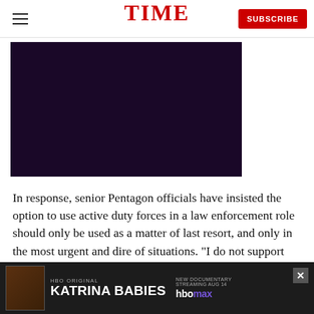TIME | SUBSCRIBE
[Figure (photo): Dark video player with deep purple/black background, embedded in article page]
In response, senior Pentagon officials have insisted the option to use active duty forces in a law enforcement role should only be used as a matter of last resort, and only in the most urgent and dire of situations. "I do not support federalizing..." aspects of... the
[Figure (other): Advertisement banner: HBO Original - Katrina Babies - New Documentary Streaming Aug 14 - HBO Max]